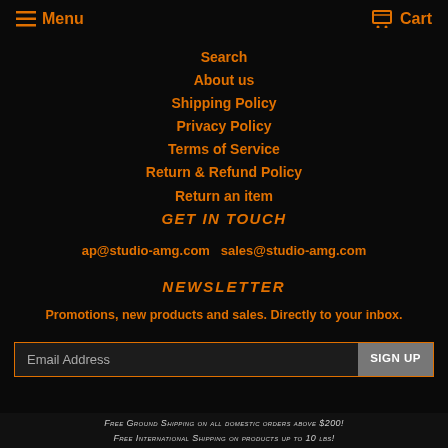Menu  Cart
Search
About us
Shipping Policy
Privacy Policy
Terms of Service
Return & Refund Policy
Return an item
Get in touch
ap@studio-amg.com  sales@studio-amg.com
Newsletter
Promotions, new products and sales. Directly to your inbox.
Email Address  SIGN UP
Free Ground Shipping on all domestic orders above $200! Free International Shipping on products up to 10 lbs!